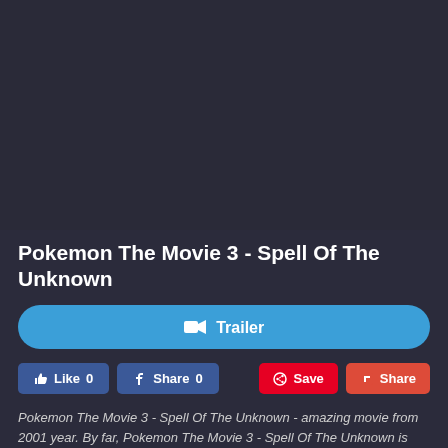[Figure (other): Dark video/media player area placeholder]
Pokemon The Movie 3 - Spell Of The Unknown
Trailer
Like 0  Share 0  Save  Share
Pokemon The Movie 3 - Spell Of The Unknown - amazing movie from 2001 year. By far, Pokemon The Movie 3 - Spell Of The Unknown is one of the best online movie I have ever seen before. One word, outstanding!. Pokemon The Movie 3 - Spell Of The Unknown has a reputation of one of the best movies of it's times. I'm the greatest fan of Michael Haigney Kunihiko Yuyama and Pokemon The Movie 3 - Spell Of The Unknown for